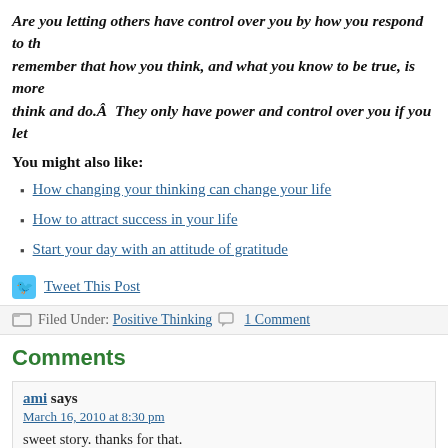Are you letting others have control over you by how you respond to th… remember that how you think, and what you know to be true, is more … think and do.Â  They only have power and control over you if you let
You might also like:
How changing your thinking can change your life
How to attract success in your life
Start your day with an attitude of gratitude
Tweet This Post
Filed Under: Positive Thinking  1 Comment
Comments
ami says
March 16, 2010 at 8:30 pm
sweet story. thanks for that.